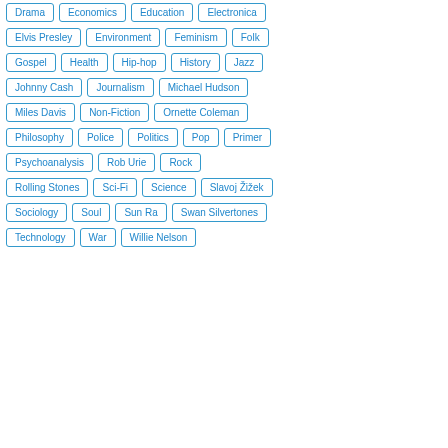Drama
Economics
Education
Electronica
Elvis Presley
Environment
Feminism
Folk
Gospel
Health
Hip-hop
History
Jazz
Johnny Cash
Journalism
Michael Hudson
Miles Davis
Non-Fiction
Ornette Coleman
Philosophy
Police
Politics
Pop
Primer
Psychoanalysis
Rob Urie
Rock
Rolling Stones
Sci-Fi
Science
Slavoj Žižek
Sociology
Soul
Sun Ra
Swan Silvertones
Technology
War
Willie Nelson